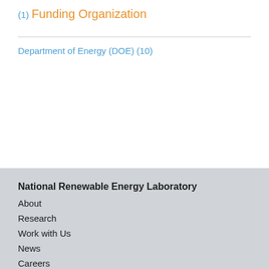(1)
Funding Organization
Department of Energy (DOE) (10)
National Renewable Energy Laboratory
About
Research
Work with Us
News
Careers